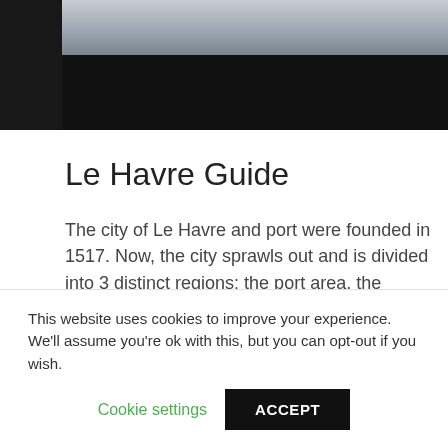[Figure (photo): Partial photograph at top of page, showing a light/sky area and a dark black bar below it, cropped at top of visible area.]
Le Havre Guide
The city of Le Havre and port were founded in 1517. Now, the city sprawls out and is divided into 3 distinct regions: the port area, the southern districts and the upper town. The university areas are were you will find all that is hip and modern, while upper town has some of the oldest monuments and the famous Saint Marie cemetery too.
This website uses cookies to improve your experience. We'll assume you're ok with this, but you can opt-out if you wish.
Cookie settings   ACCEPT